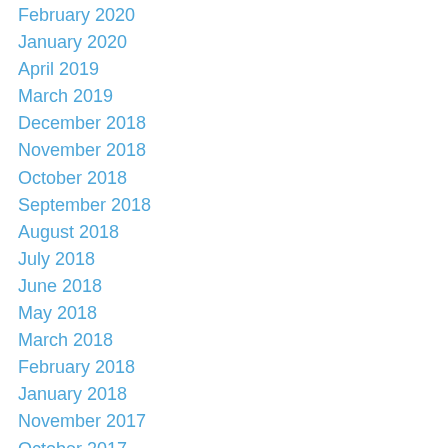February 2020
January 2020
April 2019
March 2019
December 2018
November 2018
October 2018
September 2018
August 2018
July 2018
June 2018
May 2018
March 2018
February 2018
January 2018
November 2017
October 2017
September 2017
August 2017
July 2017